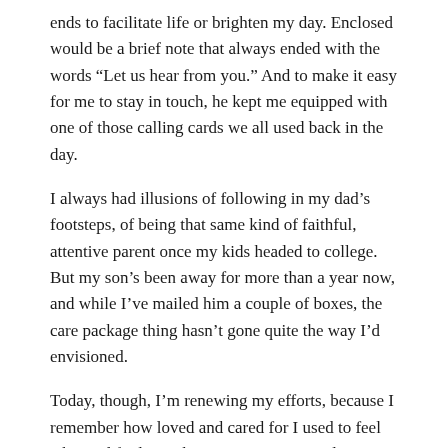ends to facilitate life or brighten my day. Enclosed would be a brief note that always ended with the words "Let us hear from you." And to make it easy for me to stay in touch, he kept me equipped with one of those calling cards we all used back in the day.
I always had illusions of following in my dad's footsteps, of being that same kind of faithful, attentive parent once my kids headed to college.  But my son's been away for more than a year now, and while I've mailed him a couple of boxes, the care package thing hasn't gone quite the way I'd envisioned.
Today, though, I'm renewing my efforts, because I remember how loved and cared for I used to feel when I'd find a package notice in my Biola mailbox. I'd join the line waiting at the window and then head eagerly back to the dorm, anticipating the novelties I'd find nestled inside the